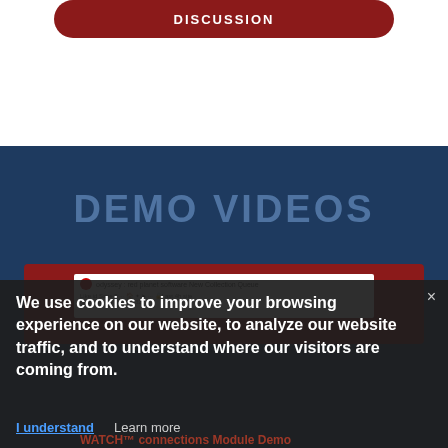DISCUSSION
DEMO VIDEOS
[Figure (screenshot): Red background video thumbnail with a browser bar showing odyssey red planet software New Collection Queue]
We use cookies to improve your browsing experience on our website, to analyze our website traffic, and to understand where our visitors are coming from.
I understand   Learn more
WATCH™ connections Module Demo